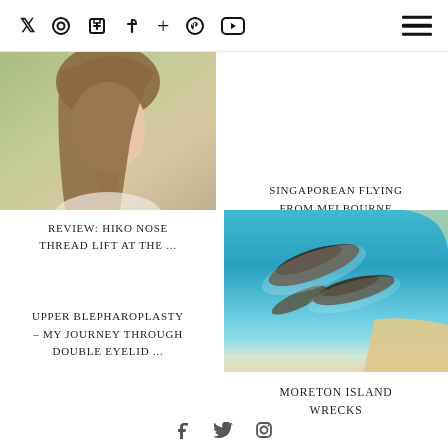Social media icons: Twitter, Instagram, Facebook, Plus, Pinterest, YouTube; Hamburger menu
[Figure (photo): Side profile of a woman with long brown hair against a soft greenish background]
REVIEW: HIKO NOSE THREAD LIFT AT THE ...
SINGAPOREAN FLYING FROM MELBOURNE AUSTRALIA TO SINGAPORE ...
UPPER BLEPHAROPLASTY – MY JOURNEY THROUGH DOUBLE EYELID ...
[Figure (photo): Aerial view of Moreton Island wrecks in turquoise water with sandy beach]
MORETON ISLAND WRECKS
Social media footer icons